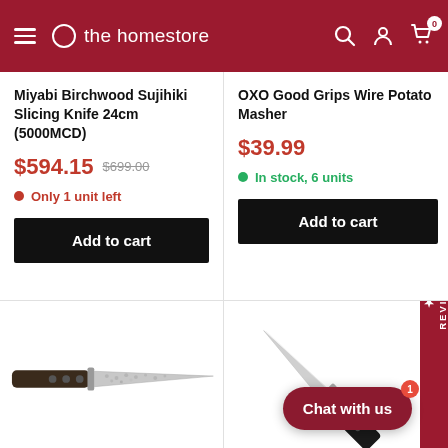the homestore
Miyabi Birchwood Sujihiki Slicing Knife 24cm (5000MCD)
$594.15  $699.00
Only 1 unit left
Add to cart
OXO Good Grips Wire Potato Masher
$39.99
In stock, 6 units
Add to cart
[Figure (photo): Miyabi Birchwood knife with dark wood handle and hammered blade]
[Figure (photo): Wusthof knife with black handle and silver blade]